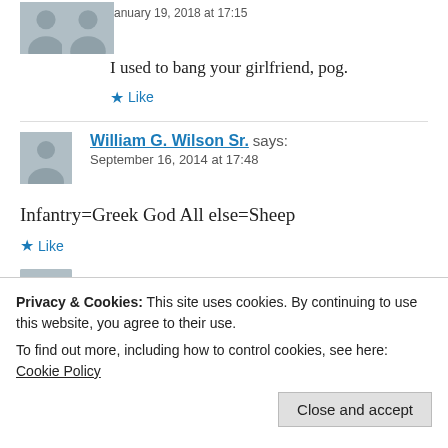January 19, 2018 at 17:15
I used to bang your girlfriend, pog.
Like
William G. Wilson Sr. says:
September 16, 2014 at 17:48
Infantry=Greek God All else=Sheep
Like
Privacy & Cookies: This site uses cookies. By continuing to use this website, you agree to their use.
To find out more, including how to control cookies, see here: Cookie Policy
Close and accept